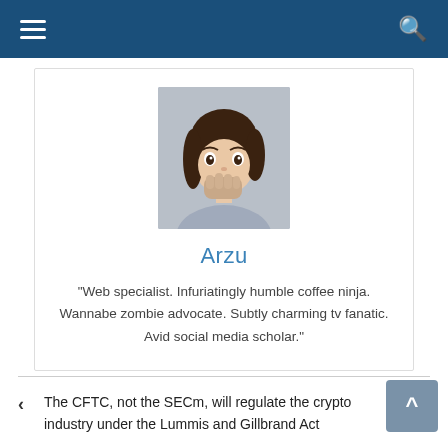Navigation bar with hamburger menu and search icon
[Figure (photo): Profile photo of a young woman with dark hair covering her mouth with her hand, looking surprised, against a grey background]
Arzu
“Web specialist. Infuriatingly humble coffee ninja. Wannabe zombie advocate. Subtly charming tv fanatic. Avid social media scholar.”
The CFTC, not the SECm, will regulate the crypto industry under the Lummis and Gillbrand Act